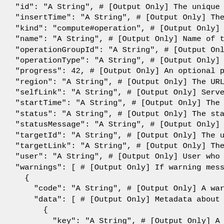"id": "A String", # [Output Only] The unique identi
"insertTime": "A String", # [Output Only] The time t
"kind": "compute#operation", # [Output Only] Type of
"name": "A String", # [Output Only] Name of the oper
"operationGroupId": "A String", # [Output Only] An I
"operationType": "A String", # [Output Only] The typ
"progress": 42, # [Output Only] An optional progress
"region": "A String", # [Output Only] The URL of the
"selfLink": "A String", # [Output Only] Server-defin
"startTime": "A String", # [Output Only] The time th
"status": "A String", # [Output Only] The status of
"statusMessage": "A String", # [Output Only] An opti
"targetId": "A String", # [Output Only] The unique t
"targetLink": "A String", # [Output Only] The URL of
"user": "A String", # [Output Only] User who request
"warnings": [ # [Output Only] If warning messages ar
  {
    "code": "A String", # [Output Only] A warning co
    "data": [ # [Output Only] Metadata about this wa
      {
        "key": "A String", # [Output Only] A key tha
        "value": "A String", # [Output Only] A warni
      },
    ],